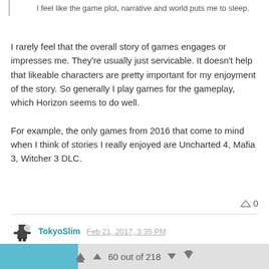I feel like the game plot, narrative and world puts me to sleep.
I rarely feel that the overall story of games engages or impresses me. They're usually just servicable. It doesn't help that likeable characters are pretty important for my enjoyment of the story. So generally I play games for the gameplay, which Horizon seems to do well.
For example, the only games from 2016 that come to mind when I think of stories I really enjoyed are Uncharted 4, Mafia 3, Witcher 3 DLC.
TokyoSlim Feb 21, 2017, 3:35 PM
Day one. Hunting robot dinosaurs in a post apocalyptic world puts you guys to sleep? What does it take to wake you up?
1 Reply
60 out of 218